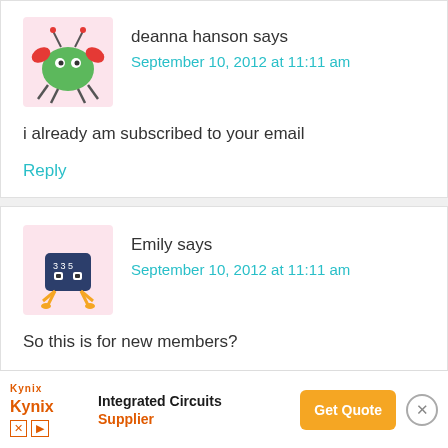deanna hanson says
September 10, 2012 at 11:11 am
i already am subscribed to your email
Reply
Emily says
September 10, 2012 at 11:11 am
So this is for new members?
Reply
[Figure (infographic): Ad banner for Kynix Integrated Circuits Supplier with Get Quote button]